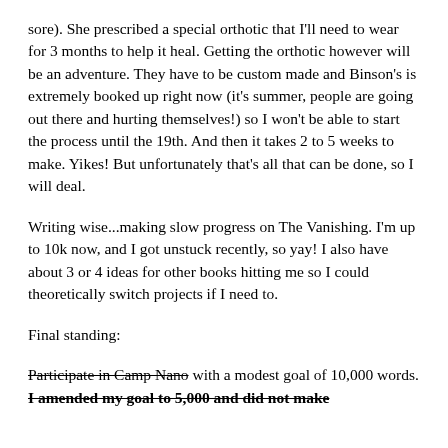sore). She prescribed a special orthotic that I'll need to wear for 3 months to help it heal. Getting the orthotic however will be an adventure. They have to be custom made and Binson's is extremely booked up right now (it's summer, people are going out there and hurting themselves!) so I won't be able to start the process until the 19th. And then it takes 2 to 5 weeks to make. Yikes! But unfortunately that's all that can be done, so I will deal.
Writing wise...making slow progress on The Vanishing. I'm up to 10k now, and I got unstuck recently, so yay! I also have about 3 or 4 ideas for other books hitting me so I could theoretically switch projects if I need to.
Final standing:
Participate in Camp Nano [strikethrough] with a modest goal of 10,000 words. I amended my goal to 5,000 and did not make [bold strikethrough, text cuts off]